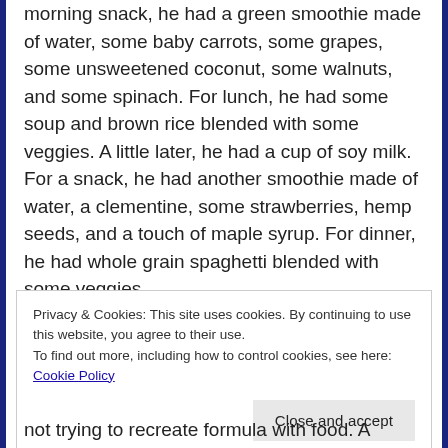morning snack, he had a green smoothie made of water, some baby carrots, some grapes, some unsweetened coconut, some walnuts, and some spinach. For lunch, he had some soup and brown rice blended with some veggies. A little later, he had a cup of soy milk. For a snack, he had another smoothie made of water, a clementine, some strawberries, hemp seeds, and a touch of maple syrup. For dinner, he had whole grain spaghetti blended with some veggies.
Privacy & Cookies: This site uses cookies. By continuing to use this website, you agree to their use.
To find out more, including how to control cookies, see here: Cookie Policy
not trying to recreate formula with food. A